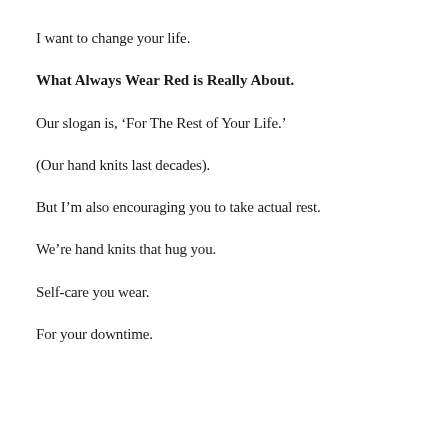I want to change your life.
What Always Wear Red is Really About.
Our slogan is, ‘For The Rest of Your Life.’
(Our hand knits last decades).
But I’m also encouraging you to take actual rest.
We’re hand knits that hug you.
Self-care you wear.
For your downtime.